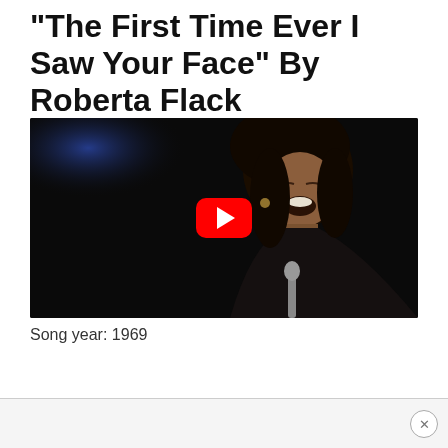“The First Time Ever I Saw Your Face” By Roberta Flack
[Figure (screenshot): YouTube video thumbnail showing Roberta Flack singing on stage with eyes closed and mouth open, dark background with blue stage lighting, red YouTube play button overlay in center]
Song year: 1969